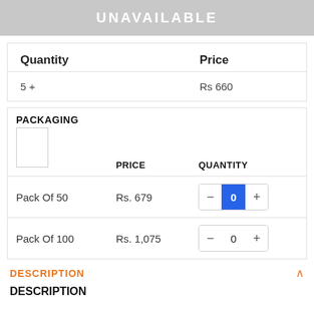UNAVAILABLE
| Quantity | Price |
| --- | --- |
| 5 + | Rs 660 |
| PACKAGING | PRICE | QUANTITY |
| --- | --- | --- |
| Pack Of 50 | Rs. 679 | 0 |
| Pack Of 100 | Rs. 1,075 | 0 |
DESCRIPTION
DESCRIPTION